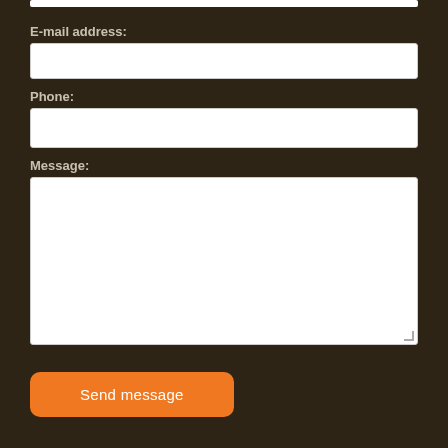E-mail address:
Phone:
Message:
Send message